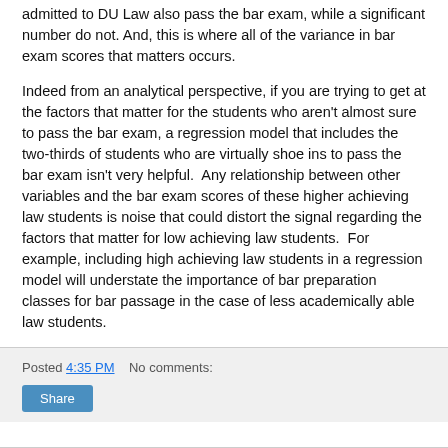admitted to DU Law also pass the bar exam, while a significant number do not. And, this is where all of the variance in bar exam scores that matters occurs.
Indeed from an analytical perspective, if you are trying to get at the factors that matter for the students who aren't almost sure to pass the bar exam, a regression model that includes the two-thirds of students who are virtually shoe ins to pass the bar exam isn't very helpful.  Any relationship between other variables and the bar exam scores of these higher achieving law students is noise that could distort the signal regarding the factors that matter for low achieving law students.  For example, including high achieving law students in a regression model will understate the importance of bar preparation classes for bar passage in the case of less academically able law students.
Posted 4:35 PM    No comments: